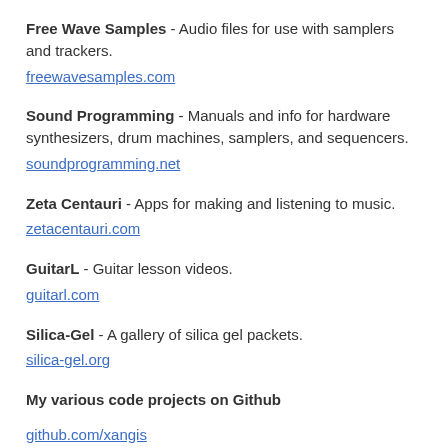Free Wave Samples - Audio files for use with samplers and trackers.
freewavesamples.com
Sound Programming - Manuals and info for hardware synthesizers, drum machines, samplers, and sequencers.
soundprogramming.net
Zeta Centauri - Apps for making and listening to music.
zetacentauri.com
GuitarL - Guitar lesson videos.
guitarl.com
Silica-Gel - A gallery of silica gel packets.
silica-gel.org
My various code projects on Github
github.com/xangis